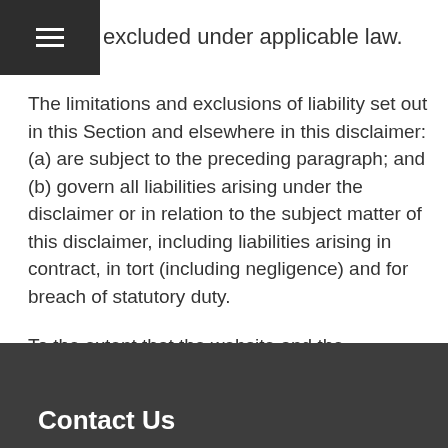excluded under applicable law.
The limitations and exclusions of liability set out in this Section and elsewhere in this disclaimer: (a) are subject to the preceding paragraph; and (b) govern all liabilities arising under the disclaimer or in relation to the subject matter of this disclaimer, including liabilities arising in contract, in tort (including negligence) and for breach of statutory duty.
To the extent that the website and the information and services on the website are provided free of charge, we will not be liable for any loss or damage of any nature.
Contact Us